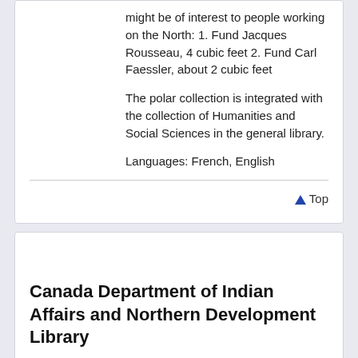might be of interest to people working on the North: 1. Fund Jacques Rousseau, 4 cubic feet 2. Fund Carl Faessler, about 2 cubic feet
The polar collection is integrated with the collection of Humanities and Social Sciences in the general library.
Languages: French, English
▲Top
Canada Department of Indian Affairs and Northern Development Library
Website: www.ainc-inac.gc.ca/ai/arp/ls/
Address: Les Terrasses de la Chaudiere, 10